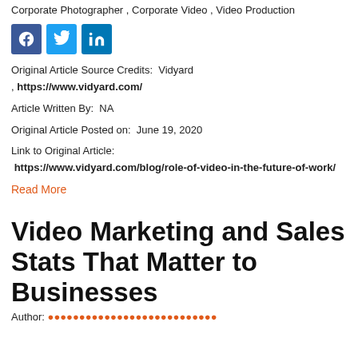Corporate Photographer , Corporate Video , Video Production
[Figure (illustration): Social media share icons: Facebook (blue), Twitter (light blue), LinkedIn (blue)]
Original Article Source Credits:  Vidyard , https://www.vidyard.com/
Article Written By:  NA
Original Article Posted on:  June 19, 2020
Link to Original Article:
  https://www.vidyard.com/blog/role-of-video-in-the-future-of-work/
Read More
Video Marketing and Sales Stats That Matter to Businesses
Author: [orange text cut off]